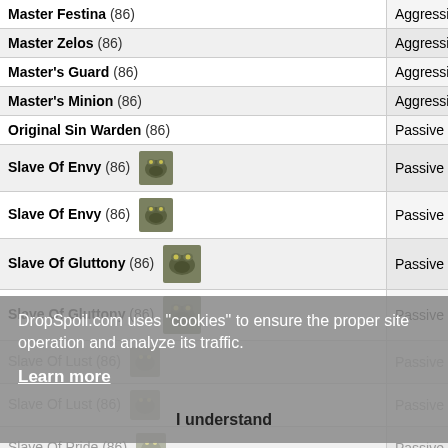| Name | Type |
| --- | --- |
| Master Festina (86) | Aggressive |
| Master Zelos (86) | Aggressive |
| Master's Guard (86) | Aggressive |
| Master's Minion (86) | Aggressive |
| Original Sin Warden (86) | Passive |
| Slave Of Envy (86) [icon] | Passive |
| Slave Of Envy (86) [icon] | Passive |
| Slave Of Gluttony (86) [icon] | Passive |
| Slave Of Gluttony (86) [icon] | Passive |
| Slave Of Lust (86) [icon] | Passive |
| Slave Of Lust (86) [icon] | Passive |
| Slave Of Pride (86) [icon] | Passive |
| Slave Of Sloth (86) [icon] | Passive |
| Tully's Golem Guard (86) | Aggressive |
DropSpoil.com uses "cookies" to ensure the proper site operation and analyze its traffic. Learn more
I understand